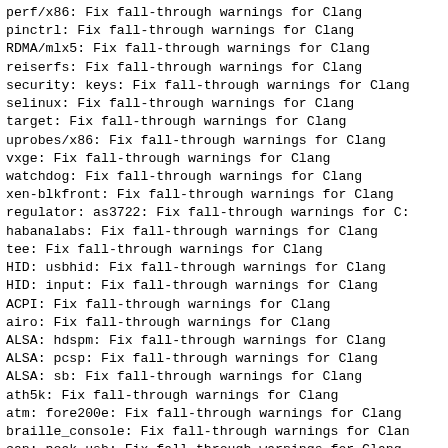perf/x86: Fix fall-through warnings for Clang
pinctrl: Fix fall-through warnings for Clang
RDMA/mlx5: Fix fall-through warnings for Clang
reiserfs: Fix fall-through warnings for Clang
security: keys: Fix fall-through warnings for Clang
selinux: Fix fall-through warnings for Clang
target: Fix fall-through warnings for Clang
uprobes/x86: Fix fall-through warnings for Clang
vxge: Fix fall-through warnings for Clang
watchdog: Fix fall-through warnings for Clang
xen-blkfront: Fix fall-through warnings for Clang
regulator: as3722: Fix fall-through warnings for C...
habanalabs: Fix fall-through warnings for Clang
tee: Fix fall-through warnings for Clang
HID: usbhid: Fix fall-through warnings for Clang
HID: input: Fix fall-through warnings for Clang
ACPI: Fix fall-through warnings for Clang
airo: Fix fall-through warnings for Clang
ALSA: hdspm: Fix fall-through warnings for Clang
ALSA: pcsp: Fix fall-through warnings for Clang
ALSA: sb: Fix fall-through warnings for Clang
ath5k: Fix fall-through warnings for Clang
atm: fore200e: Fix fall-through warnings for Clang
braille_console: Fix fall-through warnings for Clang
can: peak_usb: Fix fall-through warnings for Clang
carl9170: Fix fall-through warnings for Clang
cfg80211: Fix fall-through warnings for Clang
crypto: ccree - Fix fall-through warnings for Clang
decnet: Fix fall-through warnings for Clang
dm raid: Fix fall-through warnings for Clang
drm/amd/pm: Fix fall-through warnings for Clang
drm: Fix fall-through warnings for Clang